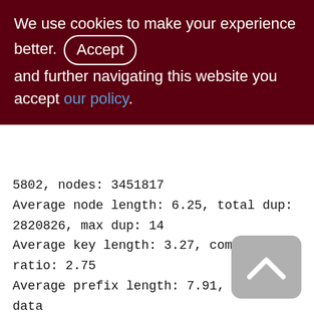We use cookies to make your experience better. By clicking and further navigating this website you accept our policy.
5802, nodes: 3451817
Average node length: 6.25, total dup: 2820826, max dup: 14
Average key length: 3.27, compression ratio: 2.75
Average prefix length: 7.91, average data length: 1.09
Clustering factor: 353338, ratio: 0.10
Fill distribution:
0 - 19% = 196
20 - 39% = 2092
40 - 59% = 2401
60 - 79% = 700